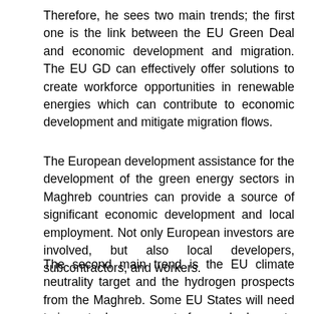Therefore, he sees two main trends; the first one is the link between the EU Green Deal and economic development and migration. The EU GD can effectively offer solutions to create workforce opportunities in renewable energies which can contribute to economic development and mitigate migration flows.
The European development assistance for the development of the green energy sectors in Maghreb countries can provide a source of significant economic development and local employment. Not only European investors are involved, but also local developers, subcontractors, and workers.
The second main trend is the EU climate neutrality target and the hydrogen prospects from the Maghreb. Some EU States will need to import a large amount of green hydrogen to reach their carbon neutrality targets. Hydrogen can seasonally stored and